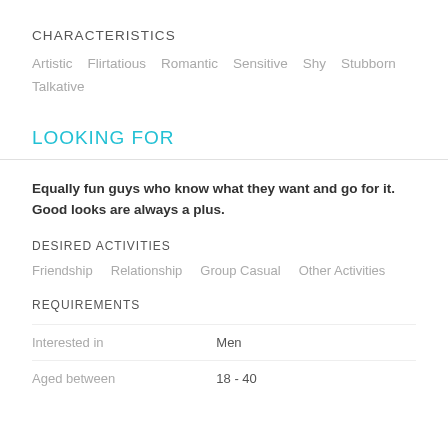CHARACTERISTICS
Artistic   Flirtatious   Romantic   Sensitive   Shy   Stubborn   Talkative
LOOKING FOR
Equally fun guys who know what they want and go for it. Good looks are always a plus.
DESIRED ACTIVITIES
Friendship   Relationship   Group Casual   Other Activities
REQUIREMENTS
|  |  |
| --- | --- |
| Interested in | Men |
| Aged between | 18 - 40 |